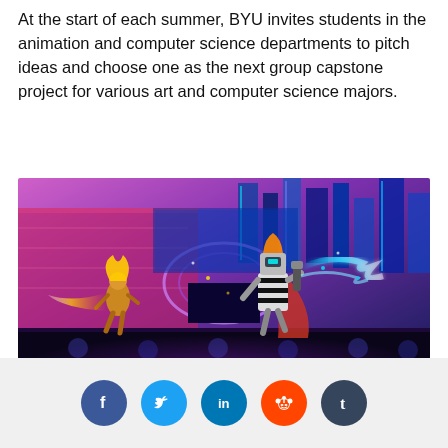At the start of each summer, BYU invites students in the animation and computer science departments to pitch ideas and choose one as the next group capstone project for various art and computer science majors.
[Figure (illustration): Animated scene showing two characters fighting in a futuristic stadium arena. One character has yellow/fire energy and the other is a robot-like figure with blue lightning effects. The background shows a neon-lit city skyline and an arena crowd.]
Social sharing buttons: Facebook, Twitter, LinkedIn, Reddit, Tumblr